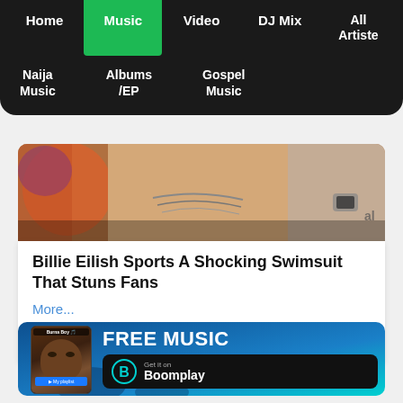Home | Music | Video | DJ Mix | All Artiste | Naija Music | Albums /EP | Gospel Music
[Figure (photo): Partial photo of Billie Eilish wearing jewelry and layered necklaces]
Billie Eilish Sports A Shocking Swimsuit That Stuns Fans
More...
713   178   238
[Figure (advertisement): Boomplay advertisement: FREE MUSIC - Get it on Boomplay, featuring Burna Boy on phone screen]